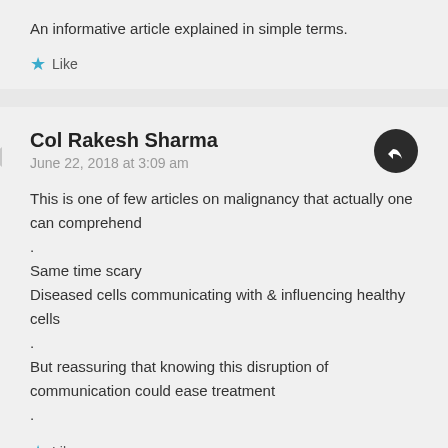An informative article explained in simple terms.
Like
Col Rakesh Sharma
June 22, 2018 at 3:09 am
This is one of few articles on malignancy that actually one can comprehend
.
Same time scary
Diseased cells communicating with & influencing healthy cells
.
But reassuring that knowing this disruption of communication could ease treatment
.
Like